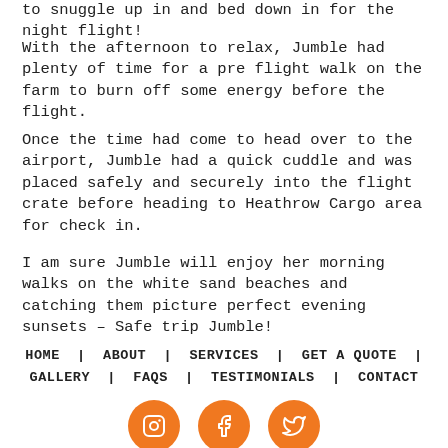to snuggle up in and bed down in for the night flight!
With the afternoon to relax, Jumble had plenty of time for a pre flight walk on the farm to burn off some energy before the flight.
Once the time had come to head over to the airport, Jumble had a quick cuddle and was placed safely and securely into the flight crate before heading to Heathrow Cargo area for check in.
I am sure Jumble will enjoy her morning walks on the white sand beaches and catching them picture perfect evening sunsets – Safe trip Jumble!
HOME  |  ABOUT  |  SERVICES  |  GET A QUOTE  |  GALLERY  |  FAQS  |  TESTIMONIALS  |  CONTACT
[Figure (illustration): Three orange circular social media icons partially visible at the bottom of the page]